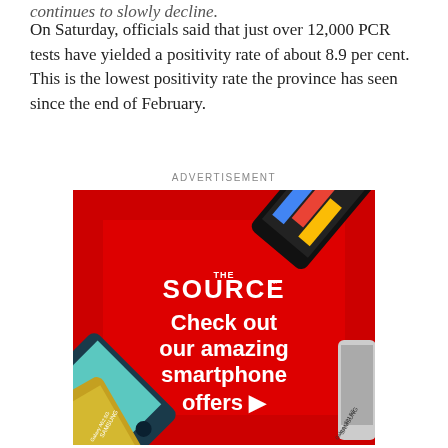continues to slowly decline.
On Saturday, officials said that just over 12,000 PCR tests have yielded a positivity rate of about 8.9 per cent. This is the lowest positivity rate the province has seen since the end of February.
ADVERTISEMENT
[Figure (illustration): Advertisement for The Source showing smartphones on a red diamond background with text: THE SOURCE, Check out our amazing smartphone offers >]